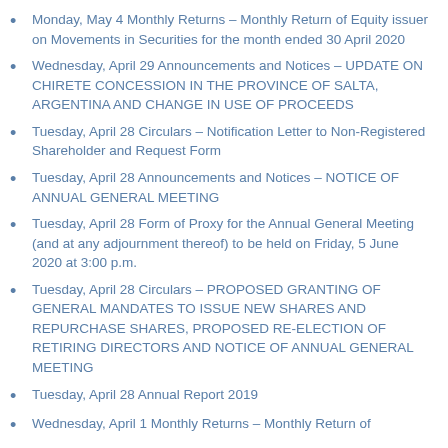Monday, May 4 Monthly Returns – Monthly Return of Equity issuer on Movements in Securities for the month ended 30 April 2020
Wednesday, April 29 Announcements and Notices – UPDATE ON CHIRETE CONCESSION IN THE PROVINCE OF SALTA, ARGENTINA AND CHANGE IN USE OF PROCEEDS
Tuesday, April 28 Circulars – Notification Letter to Non-Registered Shareholder and Request Form
Tuesday, April 28 Announcements and Notices – NOTICE OF ANNUAL GENERAL MEETING
Tuesday, April 28 Form of Proxy for the Annual General Meeting (and at any adjournment thereof) to be held on Friday, 5 June 2020 at 3:00 p.m.
Tuesday, April 28 Circulars – PROPOSED GRANTING OF GENERAL MANDATES TO ISSUE NEW SHARES AND REPURCHASE SHARES, PROPOSED RE-ELECTION OF RETIRING DIRECTORS AND NOTICE OF ANNUAL GENERAL MEETING
Tuesday, April 28 Annual Report 2019
Wednesday, April 1 Monthly Returns – Monthly Return of